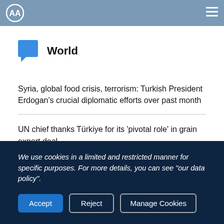AA (Anadolu Agency) logo and navigation header
World
Syria, global food crisis, terrorism: Turkish President Erdogan's crucial diplomatic efforts over past month
UN chief thanks Türkiye for its 'pivotal role' in grain export deal
We use cookies in a limited and restricted manner for specific purposes. For more details, you can see "our data policy".